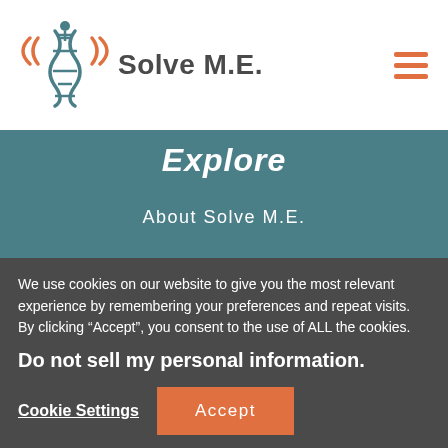[Figure (logo): Solve M.E. logo with DNA helix icon and text 'Solve M.E.']
Explore
About Solve M.E.
What is ME/CFS
Advocacy Center
You + ME Registry
We use cookies on our website to give you the most relevant experience by remembering your preferences and repeat visits. By clicking “Accept”, you consent to the use of ALL the cookies.
Do not sell my personal information.
Cookie Settings
Accept